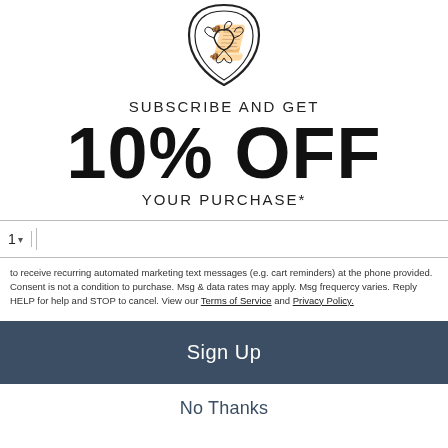[Figure (logo): Decorative shield/crest logo with ornamental letterform]
SUBSCRIBE AND GET
10% OFF
YOUR PURCHASE*
1 ▾ | (phone number input field)
to receive recurring automated marketing text messages (e.g. cart reminders) at the phone provided. Consent is not a condition to purchase. Msg & data rates may apply. Msg frequency varies. Reply HELP for help and STOP to cancel. View our Terms of Service and Privacy Policy.
Sign Up
No Thanks